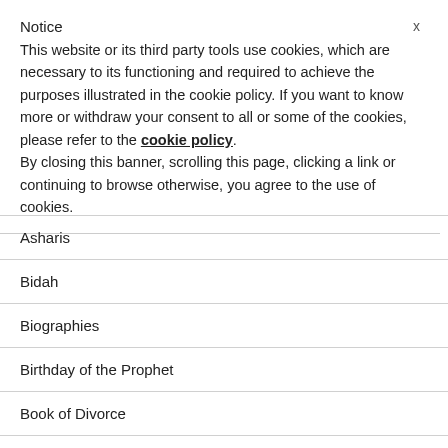Notice
This website or its third party tools use cookies, which are necessary to its functioning and required to achieve the purposes illustrated in the cookie policy. If you want to know more or withdraw your consent to all or some of the cookies, please refer to the cookie policy. By closing this banner, scrolling this page, clicking a link or continuing to browse otherwise, you agree to the use of cookies.
Asharis
Bidah
Biographies
Birthday of the Prophet
Book of Divorce
Book of Marriage
Books